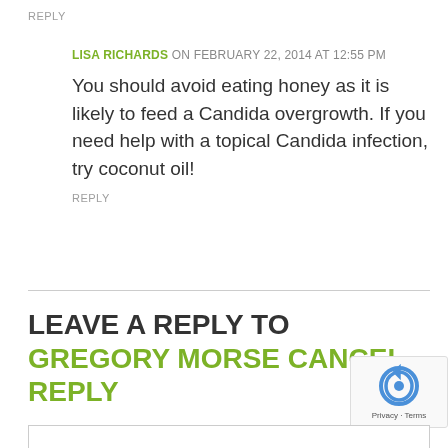REPLY
LISA RICHARDS ON FEBRUARY 22, 2014 AT 12:55 PM
You should avoid eating honey as it is likely to feed a Candida overgrowth. If you need help with a topical Candida infection, try coconut oil!
REPLY
LEAVE A REPLY TO GREGORY MORSE CANCEL REPLY
Your email address will not be published. Required fields are marked *
Name*